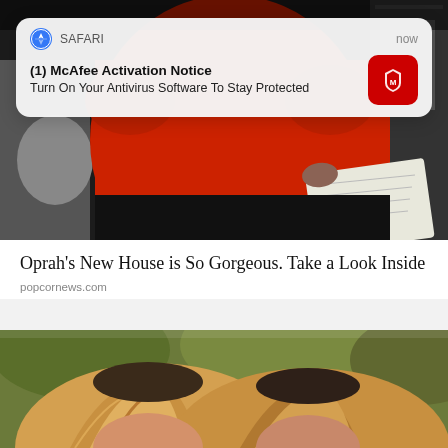[Figure (photo): Person wearing a red top, viewed from behind/side, holding papers, seated in what appears to be a vehicle or indoor setting]
[Figure (screenshot): Safari browser push notification overlay: '(1) McAfee Activation Notice - Turn On Your Antivirus Software To Stay Protected', shown as iOS notification banner with McAfee red icon]
Oprah's New House is So Gorgeous. Take a Look Inside
popcornews.com
[Figure (photo): Two women with blonde highlighted hair taking a close-up selfie outdoors with greenery in background]